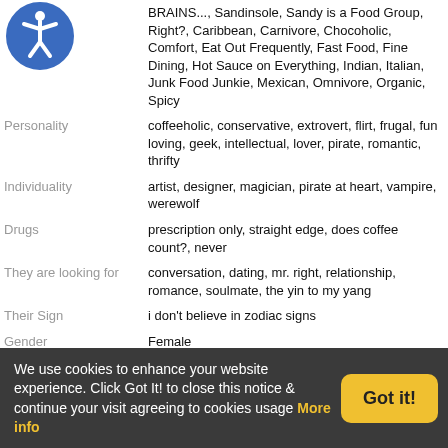[Figure (illustration): Accessibility icon - blue circle with white human figure arms outstretched]
BRAINS..., Sandinsole, Sandy is a Food Group, Right?, Caribbean, Carnivore, Chocoholic, Comfort, Eat Out Frequently, Fast Food, Fine Dining, Hot Sauce on Everything, Indian, Italian, Junk Food Junkie, Mexican, Omnivore, Organic, Spicy
Personality: coffeeholic, conservative, extrovert, flirt, frugal, fun loving, geek, intellectual, lover, pirate, romantic, thrifty
Individuality: artist, designer, magician, pirate at heart, vampire, werewolf
Drugs: prescription only, straight edge, does coffee count?, never
They are looking for: conversation, dating, mr. right, relationship, romance, soulmate, the yin to my yang
Their Sign: i don't believe in zodiac signs
Gender: Female
Music: Alternative Rock, Celtic, Classical, Hard Rock, House, Industrial, Pop, Progressive Rock, Reggae, Relaxation and Meditation, Techno, Trance
Favorite videos
We use cookies to enhance your website experience. Click Got It! to close this notice & continue your visit agreeing to cookies usage More info